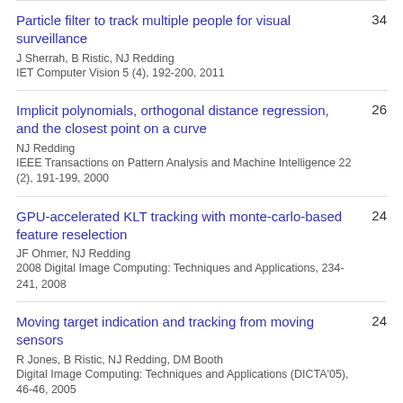Particle filter to track multiple people for visual surveillance
J Sherrah, B Ristic, NJ Redding
IET Computer Vision 5 (4), 192-200, 2011
34
Implicit polynomials, orthogonal distance regression, and the closest point on a curve
NJ Redding
IEEE Transactions on Pattern Analysis and Machine Intelligence 22 (2), 191-199, 2000
26
GPU-accelerated KLT tracking with monte-carlo-based feature reselection
JF Ohmer, NJ Redding
2008 Digital Image Computing: Techniques and Applications, 234-241, 2008
24
Moving target indication and tracking from moving sensors
R Jones, B Ristic, NJ Redding, DM Booth
Digital Image Computing: Techniques and Applications (DICTA'05), 46-46, 2005
24